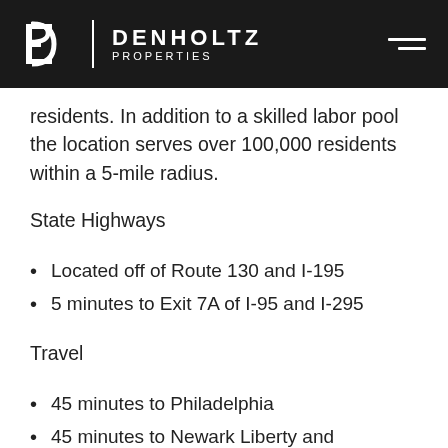DENHOLTZ PROPERTIES
residents. In addition to a skilled labor pool the location serves over 100,000 residents within a 5-mile radius.
State Highways
Located off of Route 130 and I-195
5 minutes to Exit 7A of I-95 and I-295
Travel
45 minutes to Philadelphia
45 minutes to Newark Liberty and Philadelphia International Airports/Ports